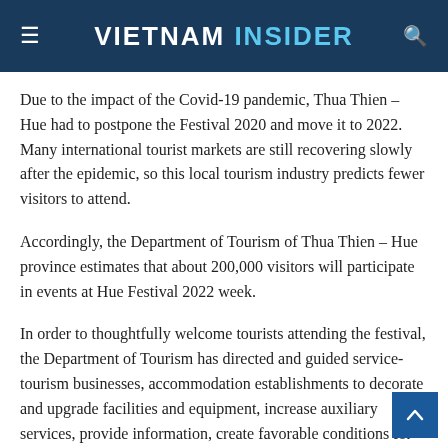VIETNAM INSIDER
Due to the impact of the Covid-19 pandemic, Thua Thien – Hue had to postpone the Festival 2020 and move it to 2022. Many international tourist markets are still recovering slowly after the epidemic, so this local tourism industry predicts fewer visitors to attend.
Accordingly, the Department of Tourism of Thua Thien – Hue province estimates that about 200,000 visitors will participate in events at Hue Festival 2022 week.
In order to thoughtfully welcome tourists attending the festival, the Department of Tourism has directed and guided service-tourism businesses, accommodation establishments to decorate and upgrade facilities and equipment, increase auxiliary services, provide information, create favorable conditions for guests.
In addition, the locality also mobilized travel businesses to buil…